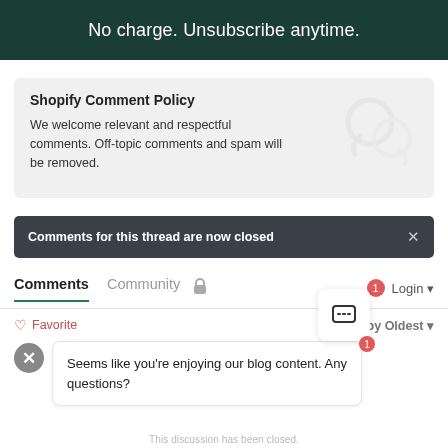No charge. Unsubscribe anytime.
Shopify Comment Policy
We welcome relevant and respectful comments. Off-topic comments and spam will be removed.
Comments for this thread are now closed
Comments   Community   Login
Favorite   Sort by Oldest
Seems like you're enjoying our blog content. Any questions?